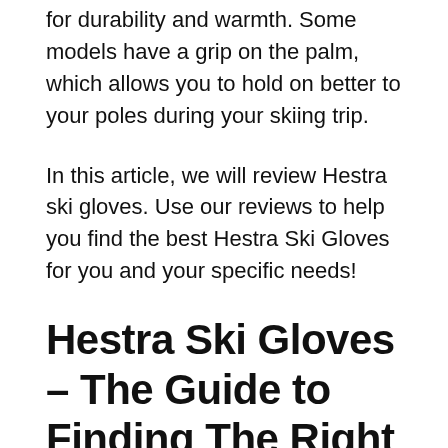for durability and warmth. Some models have a grip on the palm, which allows you to hold on better to your poles during your skiing trip.
In this article, we will review Hestra ski gloves. Use our reviews to help you find the best Hestra Ski Gloves for you and your specific needs!
Hestra Ski Gloves – The Guide to Finding The Right Ones
Hestra gloves are highly customizable. Use the following guide to help you find the perfect